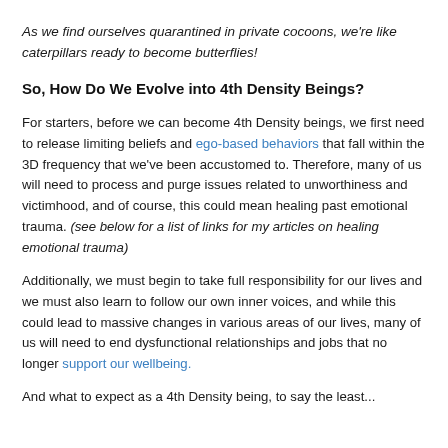As we find ourselves quarantined in private cocoons, we're like caterpillars ready to become butterflies!
So, How Do We Evolve into 4th Density Beings?
For starters, before we can become 4th Density beings, we first need to release limiting beliefs and ego-based behaviors that fall within the 3D frequency that we've been accustomed to. Therefore, many of us will need to process and purge issues related to unworthiness and victimhood, and of course, this could mean healing past emotional trauma. (see below for a list of links for my articles on healing emotional trauma)
Additionally, we must begin to take full responsibility for our lives and we must also learn to follow our own inner voices, and while this could lead to massive changes in various areas of our lives, many of us will need to end dysfunctional relationships and jobs that no longer support our wellbeing.
And what to expect as a 4th Density being, to say the least...